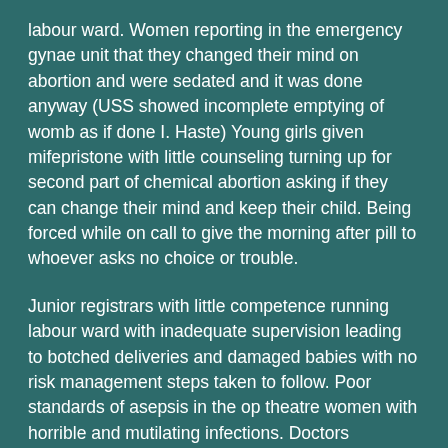labour ward. Women reporting in the emergency gynae unit that they changed their mind on abortion and were sedated and it was done anyway (USS showed incomplete emptying of womb as if done I. Haste) Young girls given mifepristone with little counseling turning up for second part of chemical abortion asking if they can change their mind and keep their child. Being forced while on call to give the morning after pill to whoever asks no choice or trouble.
Junior registrars with little competence running labour ward with inadequate supervision leading to botched deliveries and damaged babies with no risk management steps taken to follow. Poor standards of asepsis in the op theatre women with horrible and mutilating infections. Doctors